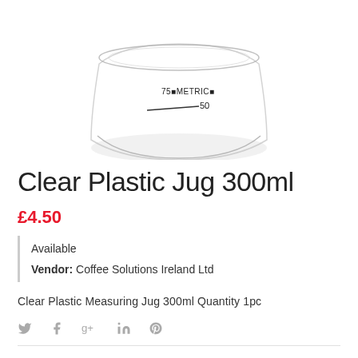[Figure (photo): Clear plastic measuring jug 300ml, seen from slightly above, showing measurement markings including 75 METRIC and 50 lines on the side.]
Clear Plastic Jug 300ml
£4.50
Available
Vendor: Coffee Solutions Ireland Ltd
Clear Plastic Measuring Jug 300ml Quantity 1pc
Social share icons: Twitter, Facebook, Google+, LinkedIn, Pinterest